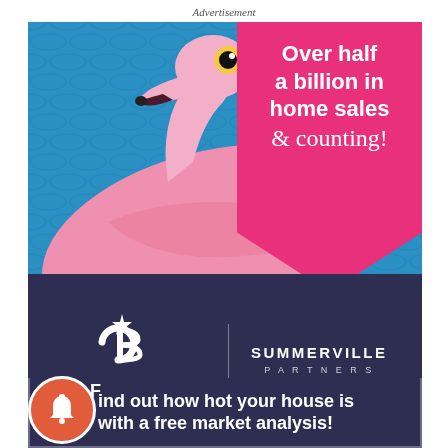Advertisement
[Figure (illustration): Real estate advertisement featuring a pink flamingo pool float on blue water background with a pink banner reading 'Over half a billion in home sales & counting!' and Coldwell Banker Realty Summerville Partners logo below, with a CTA strip 'Find out how hot your house is with a free market analysis!']